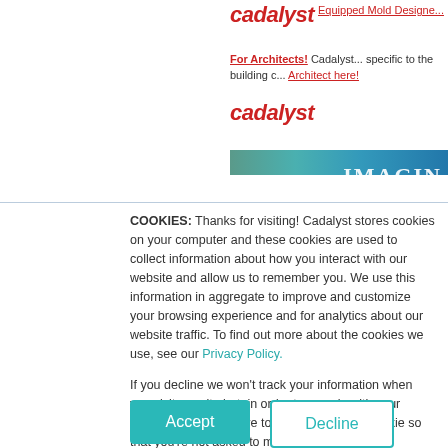[Figure (logo): Cadalyst logo in red italic bold text at top]
Equipped Mold Designe...
For Architects! Cadalyst ... specific to the building c... Architect here!
[Figure (logo): Cadalyst logo in red italic bold text in middle]
[Figure (photo): Banner image with teal/blue gradient and text IMAGIN...]
COOKIES: Thanks for visiting! Cadalyst stores cookies on your computer and these cookies are used to collect information about how you interact with our website and allow us to remember you. We use this information in aggregate to improve and customize your browsing experience and for analytics about our website traffic. To find out more about the cookies we use, see our Privacy Policy.

If you decline we won't track your information when you visit our site but, in order to comply with your preferences, we'll have to use just one tiny cookie so that you're not asked to make this choice again.
Accept
Decline